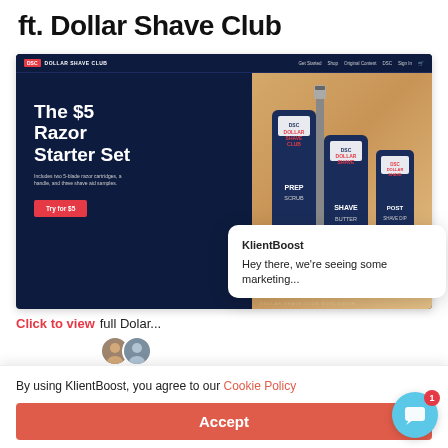ft. Dollar Shave Club
[Figure (screenshot): Dollar Shave Club website hero screenshot showing 'The $5 Razor Starter Set' promotion with product bottles on a dark navy background, with a KlientBoost chat popup overlay saying 'Hey there, we're seeing some marketing...']
Click to view full Dollar Shave Club...
By using KlientBoost, you agree to our Cookie Policy
Accept